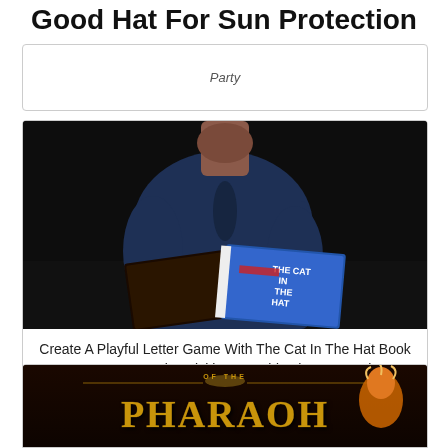Good Hat For Sun Protection
Party
[Figure (photo): Child reading The Cat in the Hat book by Dr. Seuss, holding it open, wearing a dark blue short-sleeve top, dark background]
Create A Playful Letter Game With The Cat In The Hat Book Dr Seuss Week Activities For Kids The Hat Book
[Figure (photo): Book cover showing 'OF THE PHARAOH' text in gold letters with illustrated character wearing a hat, dark background with golden tones]